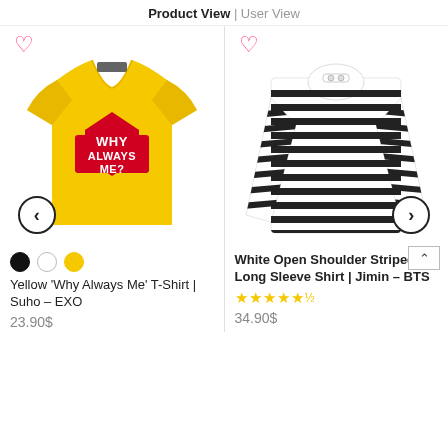Product View | User View
[Figure (photo): Yellow t-shirt with red 'WHY ALWAYS ME?' graphic print]
[Figure (photo): White and black striped open shoulder long sleeve shirt]
Yellow 'Why Always Me' T-Shirt | Suho – EXO
23.90$
White Open Shoulder Striped Long Sleeve Shirt | Jimin – BTS
34.90$